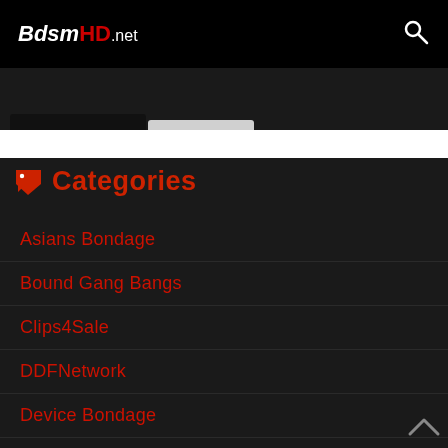BdsmHD.net
Categories
Asians Bondage
Bound Gang Bangs
Clips4Sale
DDFNetwork
Device Bondage
Digital Sin
Device Bondage